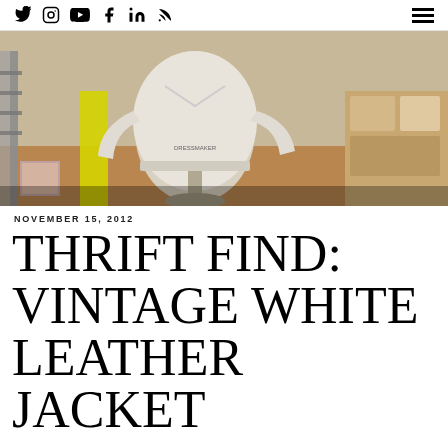Social icons: Twitter, Instagram, YouTube, Facebook, LinkedIn, RSS | Hamburger menu
[Figure (photo): A white leather jacket on a dressmaker's mannequin in what appears to be a studio or workshop setting. Yellow item visible in background, wooden shelves on right.]
NOVEMBER 15, 2012
THRIFT FIND: VINTAGE WHITE LEATHER JACKET